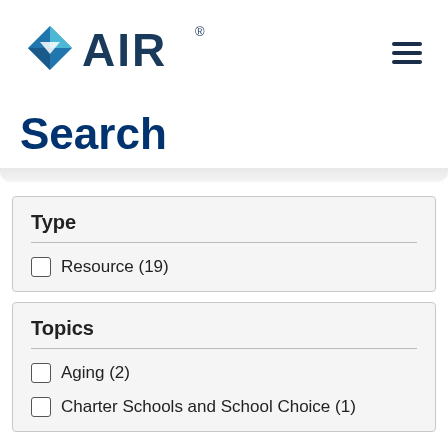[Figure (logo): AIR (American Institutes for Research) logo with blue diamond/arrow shape and AIR text in dark blue]
Search
Type
Resource (19)
Topics
Aging (2)
Charter Schools and School Choice (1)